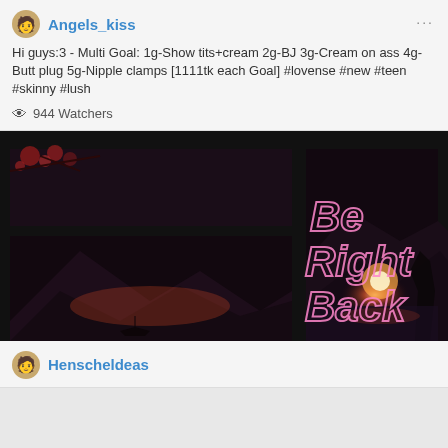Angels_kiss
Hi guys:3 - Multi Goal: 1g-Show tits+cream 2g-BJ 3g-Cream on ass 4g-Butt plug 5g-Nipple clamps [1111tk each Goal] #lovense #new #teen #skinny #lush
944 Watchers
[Figure (screenshot): Stream offline/BRB screen showing a dark fantasy landscape with mountains and red cherry blossoms viewed through a window frame, with 'Be Right Back' text overlay in pink outline font]
Henscheldeas